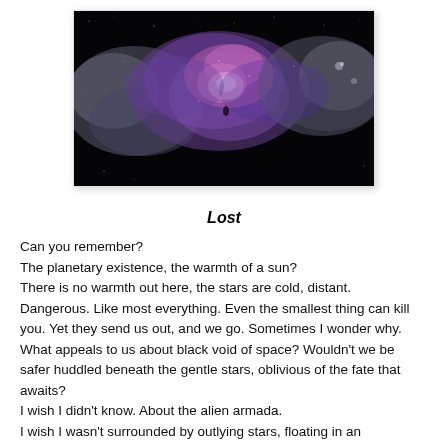[Figure (photo): A nebula in space — swirling clouds of purple, pink, and white against a dark starfield background.]
Lost
Can you remember?
The planetary existence, the warmth of a sun?
There is no warmth out here, the stars are cold, distant.
Dangerous. Like most everything. Even the smallest thing can kill you. Yet they send us out, and we go. Sometimes I wonder why. What appeals to us about black void of space? Wouldn't we be safer huddled beneath the gentle stars, oblivious of the fate that awaits?
I wish I didn't know. About the alien armada.
I wish I wasn't surrounded by outlying stars, floating in an